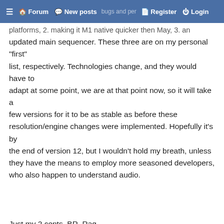≡ 🏠 Forum 💬 New posts 📝 Register ⏻ Login
platforms, 2. making it M1 native quicker then May, 3. an updated main sequencer. These three are on my personal "first" list, respectively. Technologies change, and they would have to adapt at some point, we are at that point now, so it will take a few versions for it to be as stable as before these resolution/engine changes were implemented. Hopefully it's by the end of version 12, but I wouldn't hold my breath, unless they have the means to employ more seasoned developers, who also happen to understand audio.

Just my 2 cents. BR, Raq
drun robots
25 Nov 2021